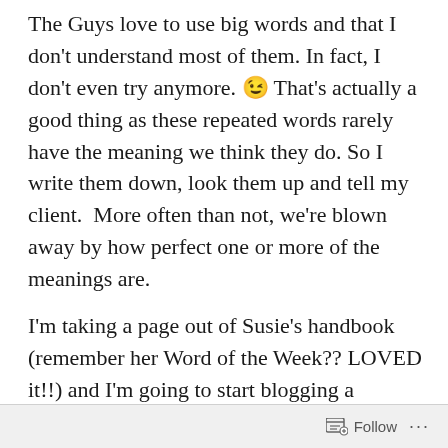The Guys love to use big words and that I don't understand most of them. In fact, I don't even try anymore. 😉 That's actually a good thing as these repeated words rarely have the meaning we think they do. So I write them down, look them up and tell my client.  More often than not, we're blown away by how perfect one or more of the meanings are.
I'm taking a page out of Susie's handbook (remember her Word of the Week?? LOVED it!!) and I'm going to start blogging a monthly (or weekly, depending on The Guys) intuitively
Follow ···